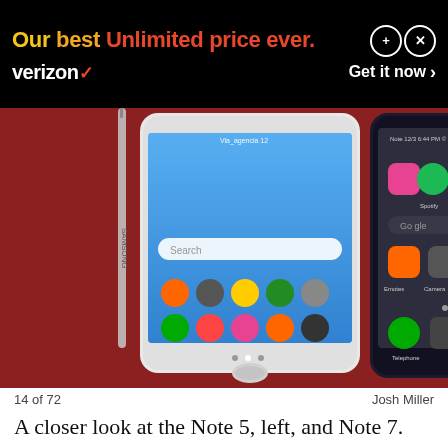[Figure (other): Verizon advertisement banner with text 'Our best Unlimited price ever.' and 'verizon' logo with 'Get it now >' link, on black background]
[Figure (photo): Two Samsung Galaxy smartphones side by side on a red surface, each with a stylus pen. Left phone is white (Note 5), right phone is dark (Note 7), both showing their home screens with app icons.]
14 of 72    Josh Miller
A closer look at the Note 5, left, and Note 7. Nope, you're not missing anything. There is no Note 6.